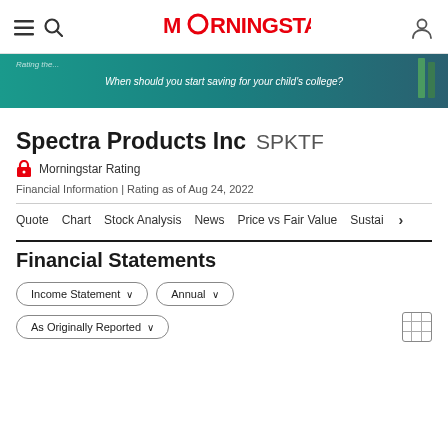Morningstar
[Figure (illustration): Advertisement banner with teal background reading 'When should you start saving for your child's college?']
Spectra Products Inc SPKTF
Morningstar Rating
Financial Information | Rating as of Aug 24, 2022
Quote   Chart   Stock Analysis   News   Price vs Fair Value   Sustai
Financial Statements
Income Statement ∨   Annual ∨
As Originally Reported ∨